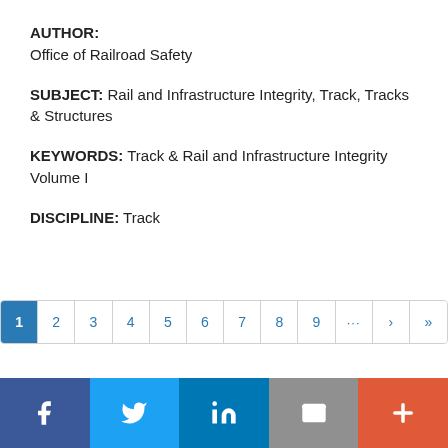AUTHOR:
Office of Railroad Safety
SUBJECT: Rail and Infrastructure Integrity, Track, Tracks & Structures
KEYWORDS: Track & Rail and Infrastructure Integrity Volume I
DISCIPLINE: Track
[Figure (other): Pagination control showing page numbers 1 through 9 with ellipsis and next/last navigation buttons. Page 1 is active/highlighted in blue.]
[Figure (other): Social media sharing bar with buttons for Facebook, Twitter, LinkedIn, Email, and a plus/share button.]